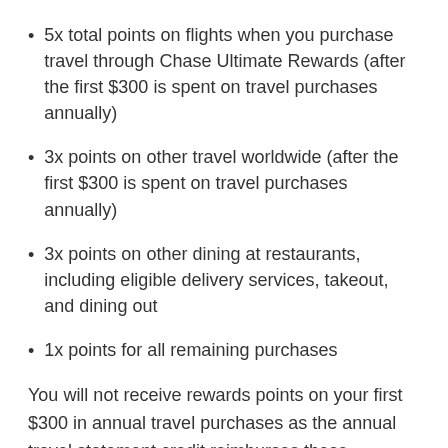5x total points on flights when you purchase travel through Chase Ultimate Rewards (after the first $300 is spent on travel purchases annually)
3x points on other travel worldwide (after the first $300 is spent on travel purchases annually)
3x points on other dining at restaurants, including eligible delivery services, takeout, and dining out
1x points for all remaining purchases
You will not receive rewards points on your first $300 in annual travel purchases as the annual travel statement credit reimburses these purchases.